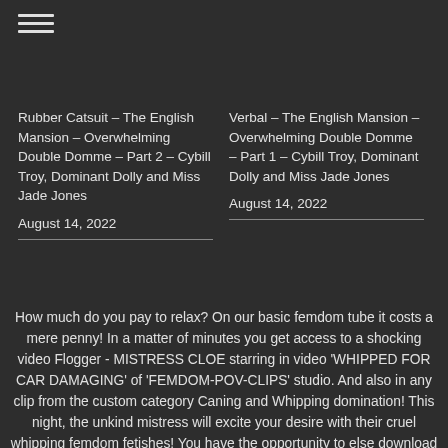≡ (menu icon)
Rubber Catsuit – The English Mansion – Overwhelming Double Domme – Part 2 – Cybill Troy, Dominant Dolly and Miss Jade Jones
August 14, 2022
Verbal – The English Mansion – Overwhelming Double Domme – Part 1 – Cybill Troy, Dominant Dolly and Miss Jade Jones
August 14, 2022
How much do you pay to relax? On our basic femdom tube it costs a mere penny! In a matter of minutes you get access to a shocking video Flogger - MISTRESS CLOE starring in video 'WHIPPED FOR CAR DAMAGING' of 'FEMDOM-POV-CLIPS' studio. And also in any clip from the custom category Caning and Whipping domination! This night, the unkind mistress will excite your desire with their cruel whipping femdom fetishes! You have the opportunity to else download or watch online s&m whipping!